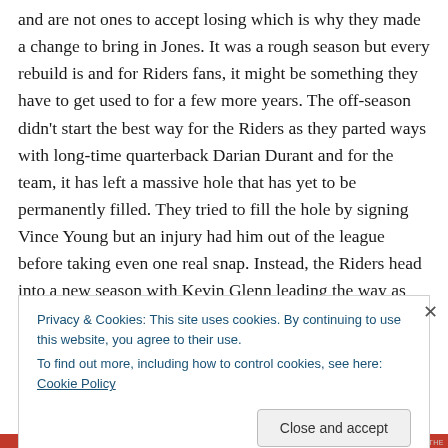and are not ones to accept losing which is why they made a change to bring in Jones. It was a rough season but every rebuild is and for Riders fans, it might be something they have to get used to for a few more years. The off-season didn't start the best way for the Riders as they parted ways with long-time quarterback Darian Durant and for the team, it has left a massive hole that has yet to be permanently filled. They tried to fill the hole by signing Vince Young but an injury had him out of the league before taking even one real snap. Instead, the Riders head into a new season with Kevin Glenn leading the way as the
Privacy & Cookies: This site uses cookies. By continuing to use this website, you agree to their use.
To find out more, including how to control cookies, see here: Cookie Policy
Close and accept